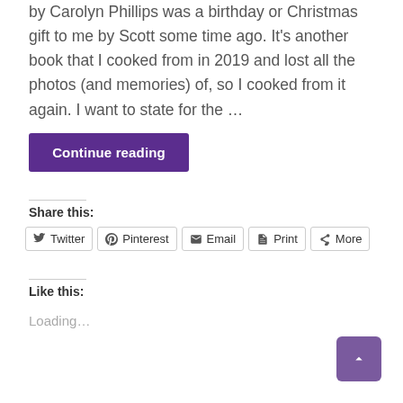by Carolyn Phillips was a birthday or Christmas gift to me by Scott some time ago. It’s another book that I cooked from in 2019 and lost all the photos (and memories) of, so I cooked from it again. I want to state for the …
Continue reading
Share this:
Twitter
Pinterest
Email
Print
More
Like this:
Loading…